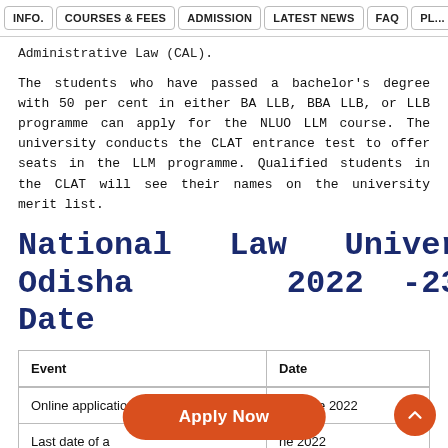INFO. | COURSES & FEES | ADMISSION | LATEST NEWS | FAQ | PL...
Administrative Law (CAL).
The students who have passed a bachelor's degree with 50 per cent in either BA LLB, BBA LLB, or LLB programme can apply for the NLUO LLM course. The university conducts the CLAT entrance test to offer seats in the LLM programme. Qualified students in the CLAT will see their names on the university merit list.
National Law University Odisha 2022 -23 Last Date
| Event | Date |
| --- | --- |
| Online application form | 12 June 2022 |
| Last date of a... | ...ne 2022 |